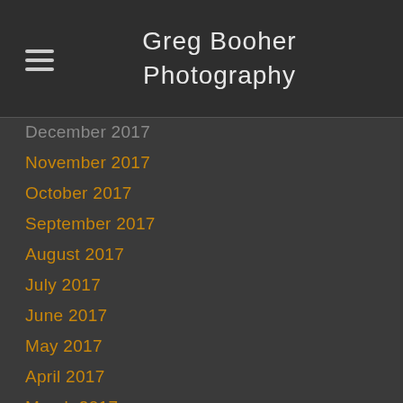Greg Booher Photography
December 2017
November 2017
October 2017
September 2017
August 2017
July 2017
June 2017
May 2017
April 2017
March 2017
February 2017
January 2017
December 2016
November 2016
October 2016
September 2016
August 2016
July 2016